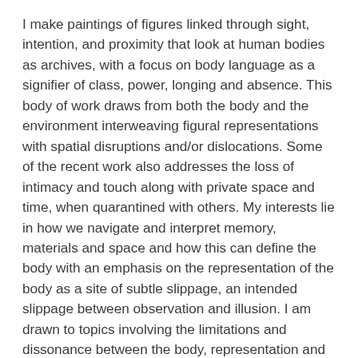I make paintings of figures linked through sight, intention, and proximity that look at human bodies as archives, with a focus on body language as a signifier of class, power, longing and absence. This body of work draws from both the body and the environment interweaving figural representations with spatial disruptions and/or dislocations. Some of the recent work also addresses the loss of intimacy and touch along with private space and time, when quarantined with others. My interests lie in how we navigate and interpret memory, materials and space and how this can define the body with an emphasis on the representation of the body as a site of subtle slippage, an intended slippage between observation and illusion. I am drawn to topics involving the limitations and dissonance between the body, representation and the mediated image.
I have always been interested in beginning my paintings and